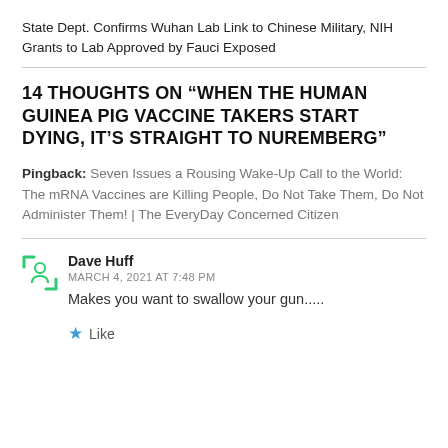State Dept. Confirms Wuhan Lab Link to Chinese Military, NIH Grants to Lab Approved by Fauci Exposed
14 THOUGHTS ON “WHEN THE HUMAN GUINEA PIG VACCINE TAKERS START DYING, IT’S STRAIGHT TO NUREMBERG”
Pingback: Seven Issues a Rousing Wake-Up Call to the World: The mRNA Vaccines are Killing People, Do Not Take Them, Do Not Administer Them! | The EveryDay Concerned Citizen
Dave Huff
MARCH 4, 2021 AT 7:48 PM
Makes you want to swallow your gun.....
Like